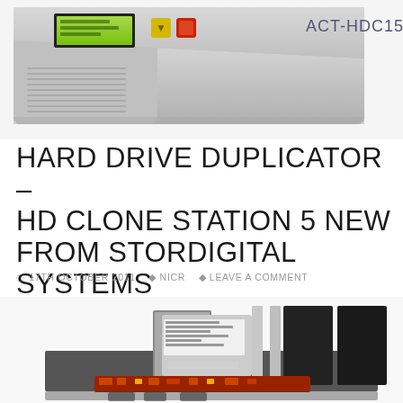[Figure (photo): Photo of a hard drive duplicator device labeled ACT-HDC15SPF, a silver/gray rectangular unit with a small LCD screen, yellow and red buttons on top front panel, and ventilation slots on the side.]
HARD DRIVE DUPLICATOR – HD CLONE STATION 5 NEW FROM STORDIGITAL SYSTEMS
17TH OCTOBER 2011   NICR   LEAVE A COMMENT
[Figure (photo): Photo of a hard drive duplicator clone station showing multiple drive bays with one hard drive inserted and several empty black bays with silver/gray separators, with a circuit board visible at the bottom.]